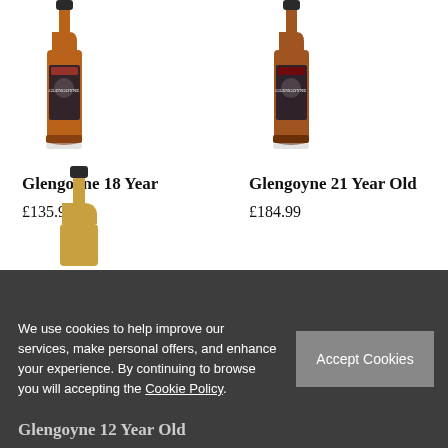[Figure (photo): Glengoyne 18 Year whisky bottle product image]
Glengoyne 18 Year
£135.99
[Figure (photo): Glengoyne 21 Year Old whisky bottle product image]
Glengoyne 21 Year Old
£184.99
[Figure (photo): Glengoyne 12 Year Old whisky bottle product image (partially visible)]
We use cookies to help improve our services, make personal offers, and enhance your experience. By continuing to browse you will accepting the Cookie Policy.
Glengoyne 12 Year Old